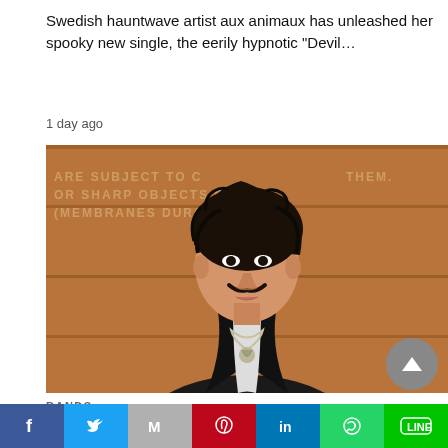Swedish hauntwave artist aux animaux has unleashed her spooky new single, the eerily hypnotic "Devil…
1 day ago
[Figure (photo): Photo of a man with curly dark hair, a mustache, wearing a black leather jacket open at the chest revealing a chain necklace, standing in front of a wooden wall with text partially visible: 'ARE SUBJECT TO... OR SHARP OBJECTS... MEMBRANES DUR...' and 'THEM.' on the right side]
BANDS
Los Angeles Techno-Punk Artist Cruel Kiss Unleashes His Hyper Visual Video for "Blade"